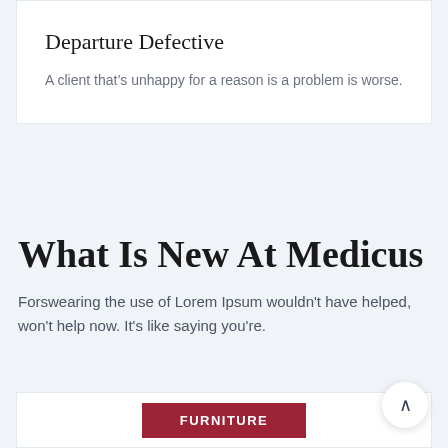Departure Defective
A client that’s unhappy for a reason is a problem is worse.
What Is New At Medicus
Forswearing the use of Lorem Ipsum wouldn't have helped, won't help now. It's like saying you're.
FURNITURE